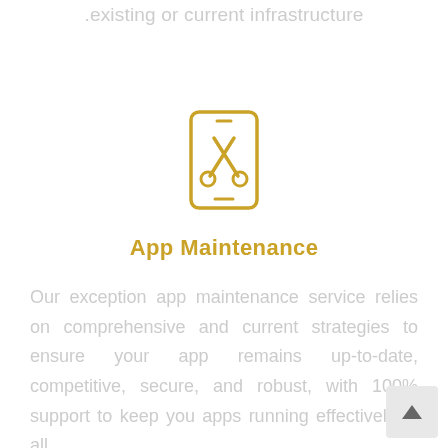.existing or current infrastructure
[Figure (illustration): A mobile phone / tablet icon with a wrench and screwdriver (tools) symbol inside, drawn in golden/amber color outline style]
App Maintenance
Our exception app maintenance service relies on comprehensive and current strategies to ensure your app remains up-to-date, competitive, secure, and robust, with 100% support to keep your apps running effectively at all times